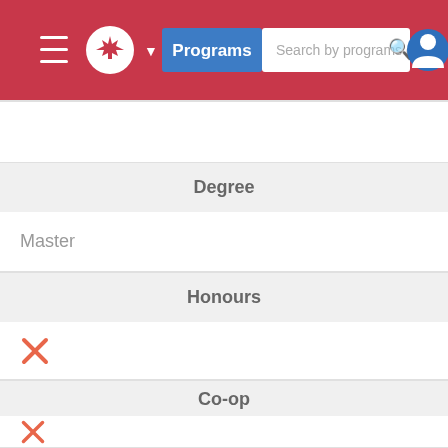[Figure (screenshot): Navigation bar with hamburger menu, Canadian maple leaf logo, Programs button, search box saying 'Search by programs of' with magnifying glass icon, and user profile icon]
Degree
Master
Honours
✗
Co-op
✗
Length